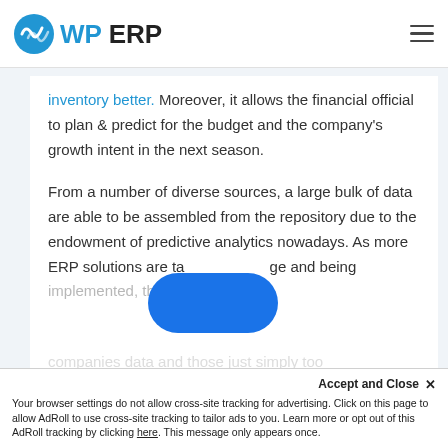WP ERP
inventory better. Moreover, it allows the financial official to plan & predict for the budget and the company’s growth intent in the next season.
From a number of diverse sources, a large bulk of data are able to be assembled from the repository due to the endowment of predictive analytics nowadays. As more ERP solutions are taking advantage and being implemented, the more every companies data and those just simply too
Accept and Close × Your browser settings do not allow cross-site tracking for advertising. Click on this page to allow AdRoll to use cross-site tracking to tailor ads to you. Learn more or opt out of this AdRoll tracking by clicking here. This message only appears once.